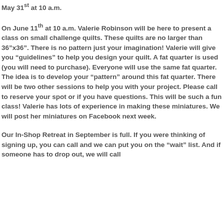May 31st at 10 a.m.
On June 11th at 10 a.m. Valerie Robinson will be here to present a class on small challenge quilts. These quilts are no larger than 36“x36”. There is no pattern just your imagination! Valerie will give you “guidelines” to help you design your quilt. A fat quarter is used (you will need to purchase). Everyone will use the same fat quarter. The idea is to develop your “pattern” around this fat quarter. There will be two other sessions to help you with your project. Please call to reserve your spot or if you have questions. This will be such a fun class! Valerie has lots of experience in making these miniatures. We will post her miniatures on Facebook next week.
Our In-Shop Retreat in September is full. If you were thinking of signing up, you can call and we can put you on the “wait” list. And if someone has to drop out, we will call